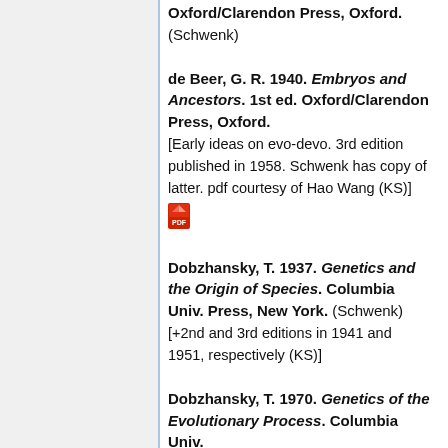Oxford/Clarendon Press, Oxford. (Schwenk)
de Beer, G. R. 1940. Embryos and Ancestors. 1st ed. Oxford/Clarendon Press, Oxford. [Early ideas on evo-devo. 3rd edition published in 1958. Schwenk has copy of latter. pdf courtesy of Hao Wang (KS)]
Dobzhansky, T. 1937. Genetics and the Origin of Species. Columbia Univ. Press, New York. (Schwenk) [+2nd and 3rd editions in 1941 and 1951, respectively (KS)]
Dobzhansky, T. 1970. Genetics of the Evolutionary Process. Columbia Univ.